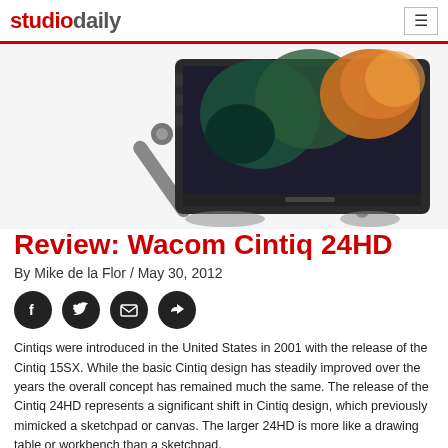studiodaily
[Figure (photo): Wacom Cintiq 24HD tablet angled view showing the stand and display screen with digital artwork]
Review: Wacom Cintiq 24HD
By Mike de la Flor / May 30, 2012
[Figure (infographic): Social sharing icons: Facebook, Twitter, Email, Share]
Cintiqs were introduced in the United States in 2001 with the release of the Cintiq 15SX. While the basic Cintiq design has steadily improved over the years the overall concept has remained much the same. The release of the Cintiq 24HD represents a significant shift in Cintiq design, which previously mimicked a sketchpad or canvas. The larger 24HD is more like a drawing table or workbench than a sketchpad.